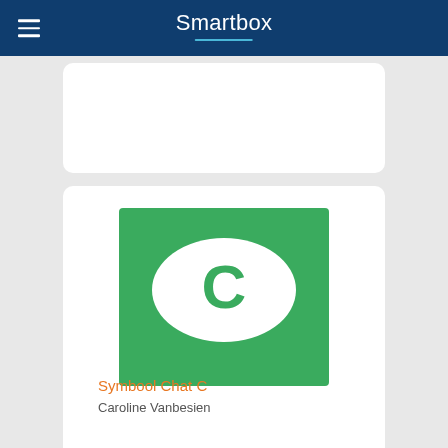Smartbox
[Figure (screenshot): White card panel, partially visible at top]
[Figure (illustration): Green square with a white speech bubble containing a green letter C — Symbool Chat C app icon]
Symbool Chat C
Caroline Vanbesien